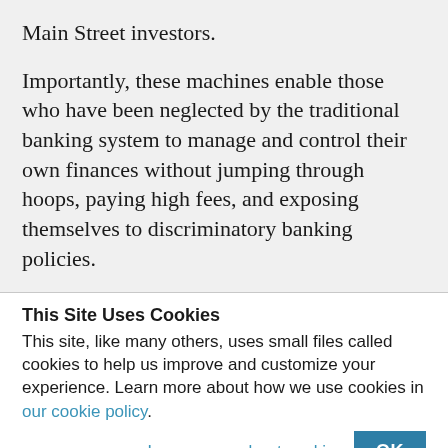Main Street investors.
Importantly, these machines enable those who have been neglected by the traditional banking system to manage and control their own finances without jumping through hoops, paying high fees, and exposing themselves to discriminatory banking policies.
This Site Uses Cookies
This site, like many others, uses small files called cookies to help us improve and customize your experience. Learn more about how we use cookies in our cookie policy.
Learn more about cookies
OK